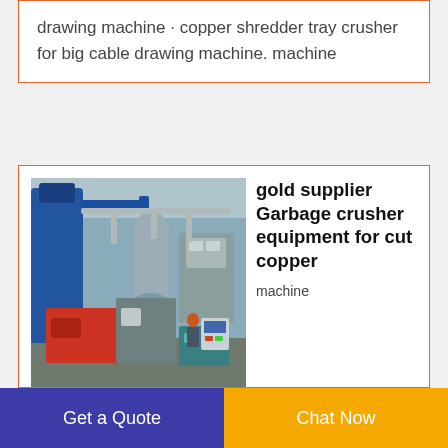drawing machine · copper shredder tray crusher for big cable drawing machine. machine
[Figure (photo): Industrial garbage crusher / copper processing equipment in a factory setting, showing a large blue dust collector on the left, metal processing machines in red and grey, piping and ductwork, and workers in the background.]
gold supplier Garbage crusher equipment for cut copper
machine equipmentmarink. · technology of garbage crusher for cut copper engines armoured roter recycling scrap metal recycling For the wire-stripping machine buy equipment for steel scrap car recycling for sale south africa radiator prices pvc granulator for sale australia mbm 6655 cutter waste
Get a Quote
Chat Now